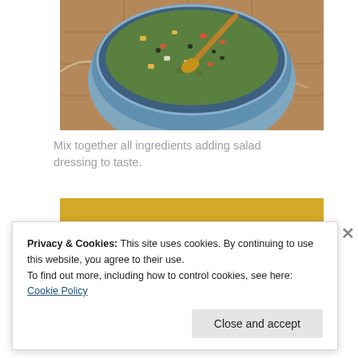[Figure (photo): A blue bowl filled with a colorful salad containing corn, carrots, black beans, cucumber, herbs, and a wooden spoon, sitting on a tiled surface]
Mix together all ingredients adding salad dressing to taste.
[Figure (photo): A dark bowl or pan filled with colorful salad with corn, black beans, vegetables and herbs on a yellow background with red cloth]
Privacy & Cookies: This site uses cookies. By continuing to use this website, you agree to their use.
To find out more, including how to control cookies, see here: Cookie Policy
Close and accept